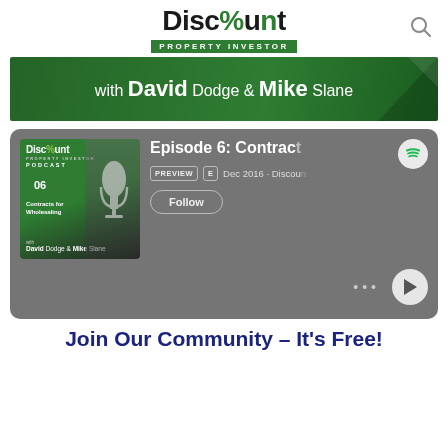[Figure (logo): Discount Property Investor logo with green accent and property investor text on green bar]
[Figure (illustration): Green banner with text: with David Dodge & Mike Slane, decorative triangles in corner]
[Figure (screenshot): Spotify player card showing Episode 6: Contracts for Wholesaling podcast by Discount Property Investor, with David Dodge & Mike Slane, Dec 2016, with PREVIEW, E badges and Follow button and play controls]
Join Our Community – It's Free!